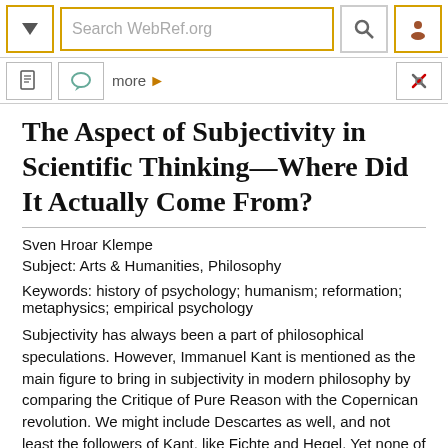[Figure (screenshot): Website navigation bar with search field showing 'Search WebRef.org', a dropdown button, magnifier icon, and user icon, all with yellow/gold borders]
[Figure (screenshot): Secondary navigation bar with document icon, speech bubble icon, 'more >' link, and tools icon]
The Aspect of Subjectivity in Scientific Thinking—Where Did It Actually Come From?
Sven Hroar Klempe
Subject: Arts & Humanities, Philosophy
Keywords: history of psychology; humanism; reformation; metaphysics; empirical psychology
Subjectivity has always been a part of philosophical speculations. However, Immanuel Kant is mentioned as the main figure to bring in subjectivity in modern philosophy by comparing the Critique of Pure Reason with the Copernican revolution. We might include Descartes as well, and not least the followers of Kant, like Fichte and Hegel. Yet none of these end up with subjectivity as the only premise for thinking, but they combine it with objectivity...